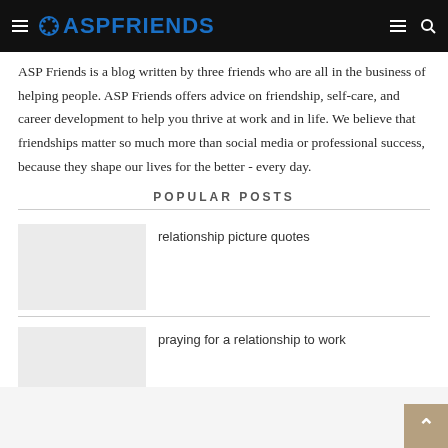ASPFRIENDS
ASP Friends is a blog written by three friends who are all in the business of helping people. ASP Friends offers advice on friendship, self-care, and career development to help you thrive at work and in life. We believe that friendships matter so much more than social media or professional success, because they shape our lives for the better - every day.
POPULAR POSTS
relationship picture quotes
praying for a relationship to work